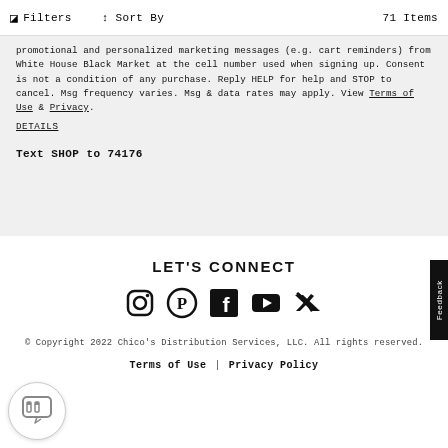Filters  Sort By  71 Items
promotional and personalized marketing messages (e.g. cart reminders) from White House Black Market at the cell number used when signing up. Consent is not a condition of any purchase. Reply HELP for help and STOP to cancel. Msg frequency varies. Msg & data rates may apply. View Terms of Use & Privacy.
DETAILS
Text SHOP to 74176
LET'S CONNECT
[Figure (illustration): Social media icons: Instagram, Pinterest, Facebook, YouTube, Twitter]
© Copyright 2022 Chico's Distribution Services, LLC. All rights reserved.
Terms of Use | Privacy Policy